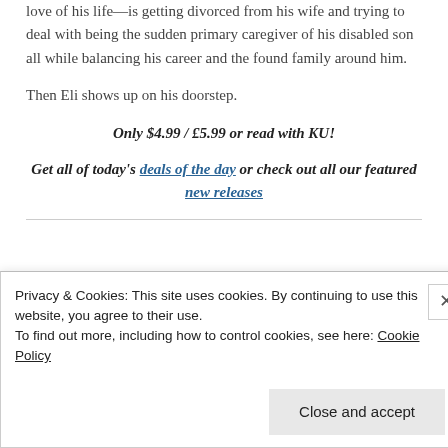love of his life—is getting divorced from his wife and trying to deal with being the sudden primary caregiver of his disabled son all while balancing his career and the found family around him.
Then Eli shows up on his doorstep.
Only $4.99 / £5.99 or read with KU!
Get all of today's deals of the day or check out all our featured new releases
Privacy & Cookies: This site uses cookies. By continuing to use this website, you agree to their use.
To find out more, including how to control cookies, see here: Cookie Policy